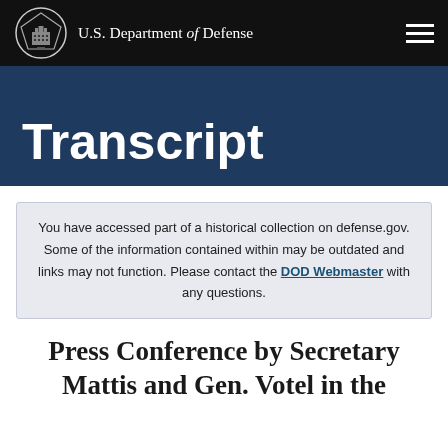U.S. Department of Defense
Transcript
You have accessed part of a historical collection on defense.gov. Some of the information contained within may be outdated and links may not function. Please contact the DOD Webmaster with any questions.
Press Conference by Secretary Mattis and Gen. Votel in the